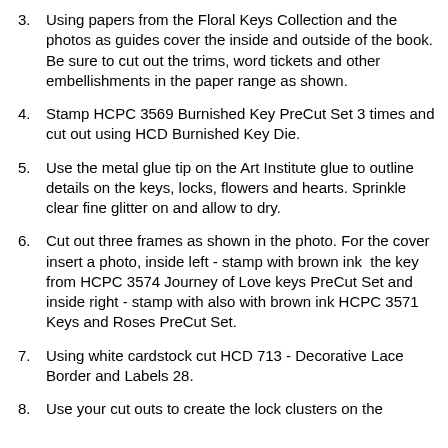3. Using papers from the Floral Keys Collection and the photos as guides cover the inside and outside of the book. Be sure to cut out the trims, word tickets and other embellishments in the paper range as shown.
4. Stamp HCPC 3569 Burnished Key PreCut Set 3 times and cut out using HCD Burnished Key Die.
5. Use the metal glue tip on the Art Institute glue to outline details on the keys, locks, flowers and hearts. Sprinkle clear fine glitter on and allow to dry.
6. Cut out three frames as shown in the photo. For the cover insert a photo, inside left - stamp with brown ink the key from HCPC 3574 Journey of Love keys PreCut Set and inside right - stamp with also with brown ink HCPC 3571 Keys and Roses PreCut Set.
7. Using white cardstock cut HCD 713 - Decorative Lace Border and Labels 28.
8. Use your cut outs to create the lock clusters on the